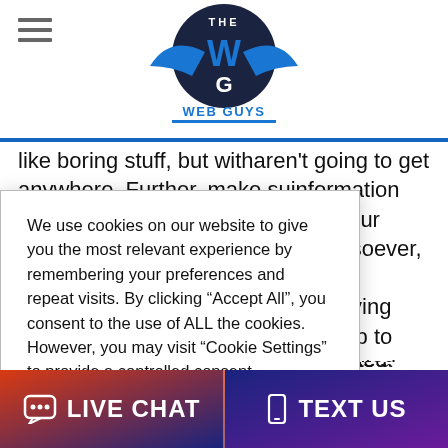[Figure (logo): The Web Guys logo - blue and dark navy W and G letters with 'THE WEB GUYS' text]
like boring stuff, but without it you aren't going to get anywhere. Further, make sure the information you provide remains accurate. If your hours change for any reason whatsoever, keep your profile updated. With the COVID-19 crisis that we've been living through, keeping this information up to date regarding edited hours makes a difference. When you put your business information in, it should reflect your time and interests
We use cookies on our website to give you the most relevant experience by remembering your preferences and repeat visits. By clicking "Accept All", you consent to the use of ALL the cookies. However, you may visit "Cookie Settings" to provide a controlled consent.
business, take
LIVE CHAT
TEXT US